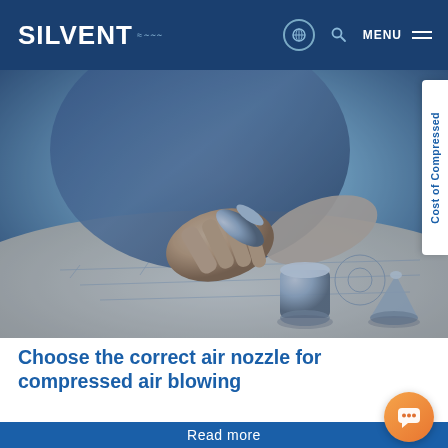SILVENT — website header with globe icon, search icon, and MENU
[Figure (photo): A person holding a metallic air nozzle component over engineering blueprints on a desk, with cylindrical and cone-shaped metal nozzle parts visible in the foreground.]
[Figure (other): Vertical sidebar tab on right side reading 'Cost of Compressed' in blue text on white background, rotated 90 degrees.]
Choose the correct air nozzle for compressed air blowing
Read more